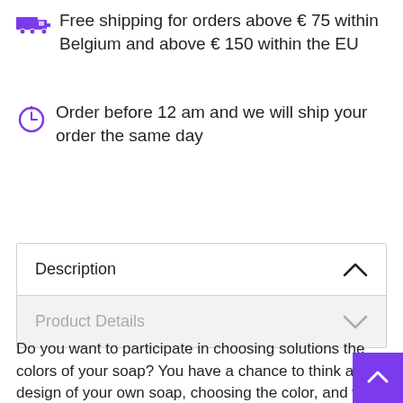Free shipping for orders above € 75 within Belgium and above € 150 within the EU
Order before 12 am and we will ship your order the same day
Description
Product Details
Do you want to participate in choosing solutions the colors of your soap? You have a chance to think about design of your own soap, choosing the color, and we will